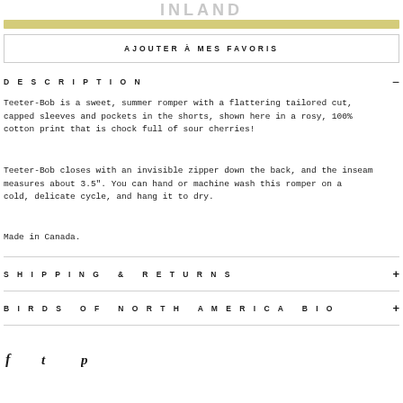INLAND
[Figure (other): Gold/yellow decorative banner strip]
AJOUTER À MES FAVORIS
DESCRIPTION
Teeter-Bob is a sweet, summer romper with a flattering tailored cut, capped sleeves and pockets in the shorts, shown here in a rosy, 100% cotton print that is chock full of sour cherries!
Teeter-Bob closes with an invisible zipper down the back, and the inseam measures about 3.5". You can hand or machine wash this romper on a cold, delicate cycle, and hang it to dry.
Made in Canada.
SHIPPING & RETURNS
BIRDS OF NORTH AMERICA BIO
[Figure (other): Social media icons: Facebook, Twitter, Pinterest]